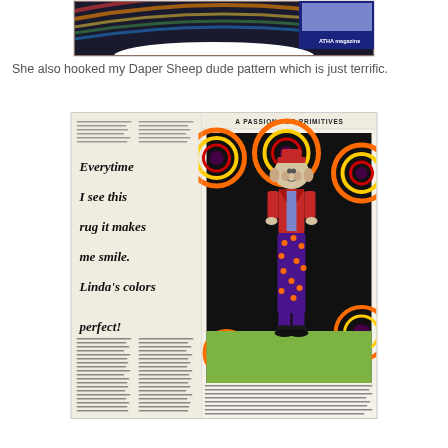[Figure (photo): Top portion of a blog page showing a partial image of a hooked rug with dark blue/rainbow colors and an oval white bottom, with a small magazine badge in the top right corner showing 'ATHA magazine']
She also hooked my Daper Sheep dude pattern which is just terrific.
[Figure (photo): Magazine spread showing 'A PASSION FOR PRIMITIVES' header on the right page with a photo of a hooked rug depicting a dapper sheep/dog character in colorful clown-like outfit against a dark background with rainbow circles. The left page shows cursive text reading: Everytime I see this rug it makes me smile. Linda's colors perfect!]